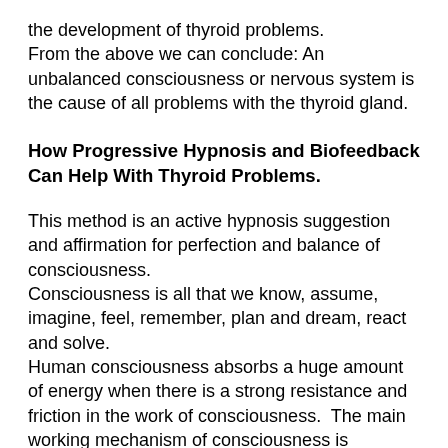the development of thyroid problems.
From the above we can conclude: An unbalanced consciousness or nervous system is the cause of all problems with the thyroid gland.
How Progressive Hypnosis and Biofeedback Can Help With Thyroid Problems.
This method is an active hypnosis suggestion and affirmation for perfection and balance of consciousness.
Consciousness is all that we know, assume, imagine, feel, remember, plan and dream, react and solve.
Human consciousness absorbs a huge amount of energy when there is a strong resistance and friction in the work of consciousness. The main working mechanism of consciousness is Intellect. Intellect is a process of thought formation, limited